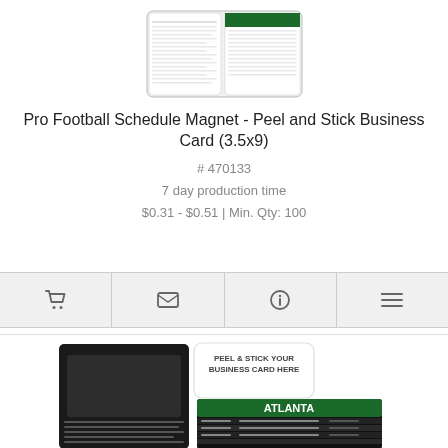[Figure (photo): Product thumbnail image of Pro Football Schedule Magnet - Peel and Stick Business Card, showing a folded schedule magnet with NFL team schedules printed on it]
Pro Football Schedule Magnet - Peel and Stick Business Card (3.5x9)
# 470133
7 day production time
$0.31 - $0.51 | Min. Qty: 100
[Figure (infographic): Action bar with four icon buttons: shopping cart, envelope/email, info (i), and list/details icons]
[Figure (photo): Second product image showing the Atlanta pro football schedule magnet with a peel and stick business card area, displaying the Atlanta team schedule with green and dark background design]